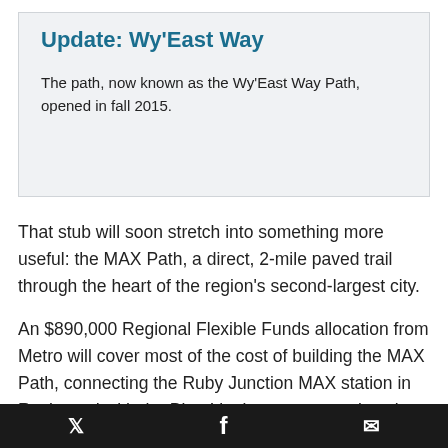Update: Wy'East Way
The path, now known as the Wy'East Way Path, opened in fall 2015.
That stub will soon stretch into something more useful: the MAX Path, a direct, 2-mile paved trail through the heart of the region's second-largest city.
An $890,000 Regional Flexible Funds allocation from Metro will cover most of the cost of building the MAX Path, connecting the Ruby Junction MAX station in Rockwood with the Blue Line's eastern terminus in downtown Gresham.
Since the MAX was completed here in 1986, light rail
🐦  f  ✉